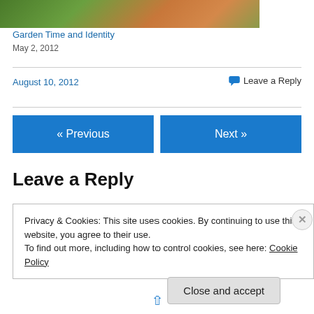[Figure (photo): Partial view of a basket with vegetables/carrots in a garden setting]
Garden Time and Identity
May 2, 2012
August 10, 2012
Leave a Reply
« Previous
Next »
Leave a Reply
Privacy & Cookies: This site uses cookies. By continuing to use this website, you agree to their use.
To find out more, including how to control cookies, see here: Cookie Policy
Close and accept